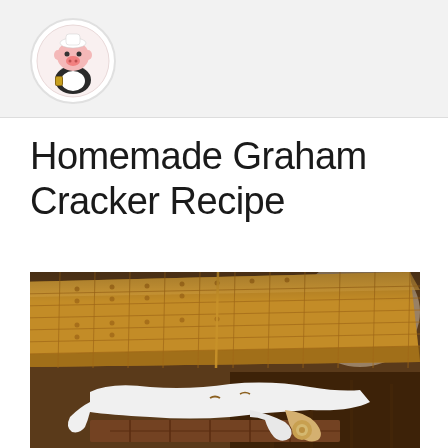Homemade Graham Cracker Recipe
[Figure (photo): Close-up photo of a s'more made with graham crackers, melted marshmallow, and chocolate bar on a wooden surface]